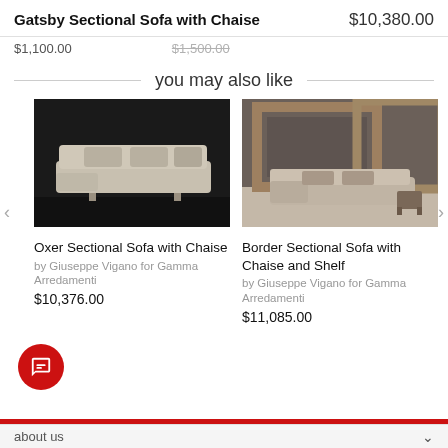Gatsby Sectional Sofa with Chaise   $10,380.00
$1,100.00   $1,500.00
you may also like
[Figure (photo): Photo of Oxer Sectional Sofa with Chaise on dark background]
Oxer Sectional Sofa with Chaise
by Giuseppe Vigano for Gamma Arredamenti
$10,376.00
[Figure (photo): Photo of Border Sectional Sofa with Chaise and Shelf in a room with large wooden frames]
Border Sectional Sofa with Chaise and Shelf
by Giuseppe Vigano for Gamma Arredamenti
$11,085.00
about us